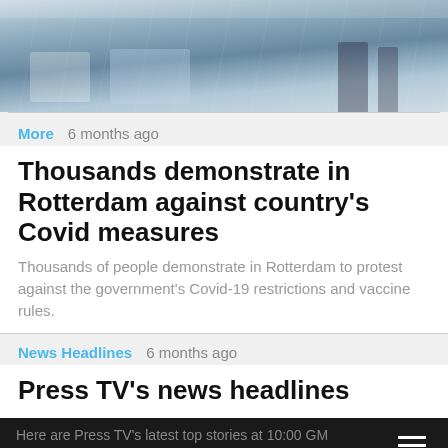[Figure (photo): Snowy outdoor scene with vehicles and people in winter conditions]
More  6 months ago
Thousands demonstrate in Rotterdam against country's Covid measures
Thousands of people demonstrate in Rotterdam to protest against the government's Covid-19 restrictions and vaccine rules.
News Headlines  6 months ago
Press TV's news headlines
Here are Press TV's latest top stories at 10:00 GMT February 6, 2022